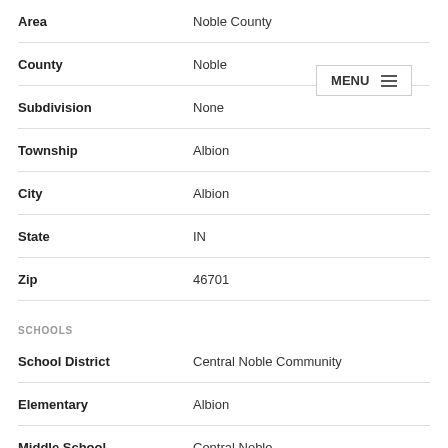| Field | Value |
| --- | --- |
| Area | Noble County |
| County | Noble |
| Subdivision | None |
| Township | Albion |
| City | Albion |
| State | IN |
| Zip | 46701 |
SCHOOLS
| Field | Value |
| --- | --- |
| School District | Central Noble Community |
| Elementary | Albion |
| Middle School | Central Noble |
| High School | Central Noble |
FINANCIAL
| Field | Value |
| --- | --- |
| Assoc. Dues | $0.00 Not Applicable |